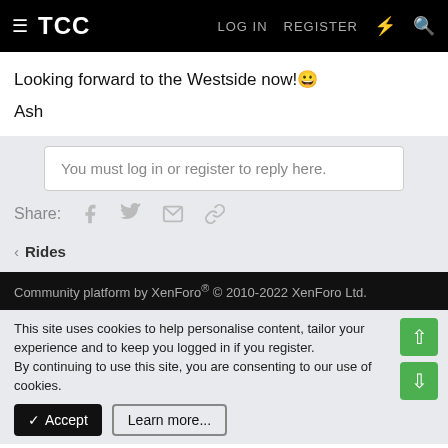TCC  LOG IN  REGISTER
Looking forward to the Westside now! 😁
Ash
You must log in or register to reply here.
Share:
< Rides
Community platform by XenForo® © 2010-2022 XenForo Ltd.
This site uses cookies to help personalise content, tailor your experience and to keep you logged in if you register.
By continuing to use this site, you are consenting to our use of cookies.
✓ Accept   Learn more...